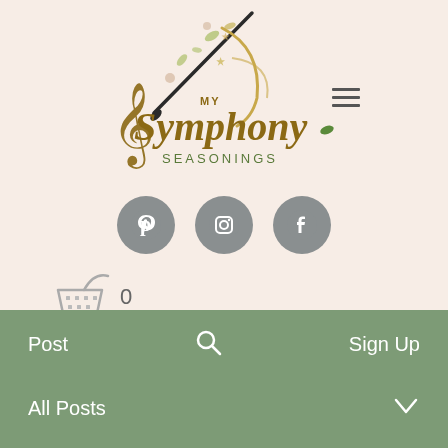[Figure (logo): My Symphony Seasonings logo with musical clef, paintbrush with scattered botanicals, and stylized cursive text]
[Figure (infographic): Three circular gray social media icons: Pinterest, Instagram, Facebook]
[Figure (illustration): Shopping basket / cart icon with count 0]
Post
[Figure (illustration): Search magnifying glass icon]
Sign Up
All Posts
[Figure (illustration): Chevron down arrow icon]